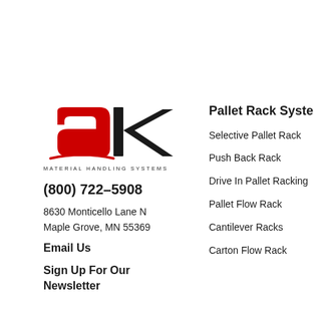[Figure (logo): AK Material Handling Systems logo — red stylized 'a' and black stylized 'k' with swoosh, followed by text 'MATERIAL HANDLING SYSTEMS' below]
(800) 722–5908
8630 Monticello Lane N
Maple Grove, MN 55369
Email Us
Sign Up For Our Newsletter
Pallet Rack Systems
Selective Pallet Rack
Push Back Rack
Drive In Pallet Racking
Pallet Flow Rack
Cantilever Racks
Carton Flow Rack